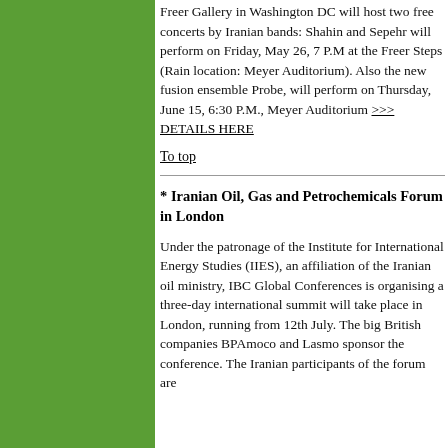Freer Gallery in Washington DC will host two free concerts by Iranian bands: Shahin and Sepehr will perform on Friday, May 26, 7 P.M at the Freer Steps (Rain location: Meyer Auditorium). Also the new fusion ensemble Probe, will perform on Thursday, June 15, 6:30 P.M., Meyer Auditorium >>> DETAILS HERE
To top
* Iranian Oil, Gas and Petrochemicals Forum in London
Under the patronage of the Institute for International Energy Studies (IIES), an affiliation of the Iranian oil ministry, IBC Global Conferences is organising a three-day international summit will take place in London, running from 12th July. The big British companies BPAmoco and Lasmo sponsor the conference. The Iranian participants of the forum are